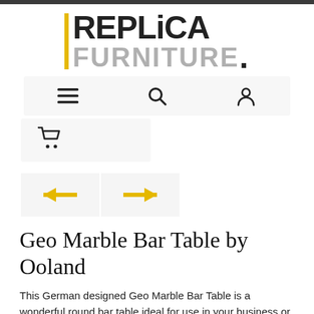[Figure (logo): Replica Furniture logo with yellow vertical bar, bold black REPLICA text and grey FURNITURE. text]
[Figure (infographic): Navigation bar with hamburger menu icon, search icon, and person/account icon on light grey background]
[Figure (infographic): Shopping cart icon on light grey background]
[Figure (infographic): Two navigation arrow buttons pointing left and right in yellow/gold color on light grey backgrounds]
Geo Marble Bar Table by Ooland
This German designed Geo Marble Bar Table is a wonderful round bar table ideal for use in your business or home. Ooland is a renowned German design team and have released this